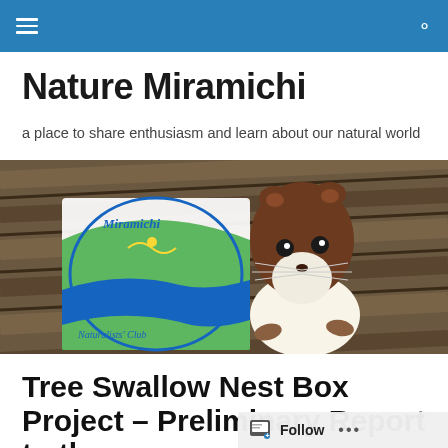Nature Miramichi navigation bar
Nature Miramichi
a place to share enthusiasm and learn about our natural world
[Figure (photo): Hero banner photo showing a weasel/stoat peering over a wooden surface, with a Miramichi Naturalists' Club logo overlay on the left side.]
Tree Swallow Nest Box Project – Preliminary Report to the membership